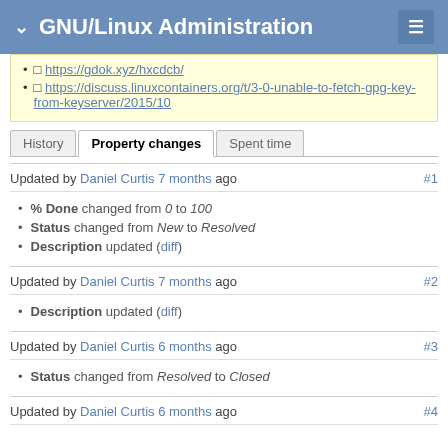GNU/Linux Administration
https://gdok.xyz/hxcdcb/
https://discuss.linuxcontainers.org/t/3-0-unable-to-fetch-gpg-key-from-keyserver/2015/10
History | Property changes | Spent time
Updated by Daniel Curtis 7 months ago #1
% Done changed from 0 to 100
Status changed from New to Resolved
Description updated (diff)
Updated by Daniel Curtis 7 months ago #2
Description updated (diff)
Updated by Daniel Curtis 6 months ago #3
Status changed from Resolved to Closed
Updated by Daniel Curtis 6 months ago #4